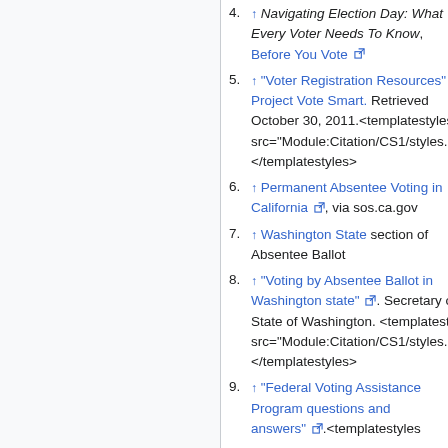4. ↑ Navigating Election Day: What Every Voter Needs To Know, Before You Vote
5. ↑ "Voter Registration Resources". Project Vote Smart. Retrieved October 30, 2011.<templatestyles src="Module:Citation/CS1/styles.css"></templatestyles>
6. ↑ Permanent Absentee Voting in California, via sos.ca.gov
7. ↑ Washington State section of Absentee Ballot
8. ↑ "Voting by Absentee Ballot in Washington state". Secretary of State of Washington. <templatestyles src="Module:Citation/CS1/styles.css"></templatestyles>
9. ↑ "Federal Voting Assistance Program questions and answers".<templatestyles